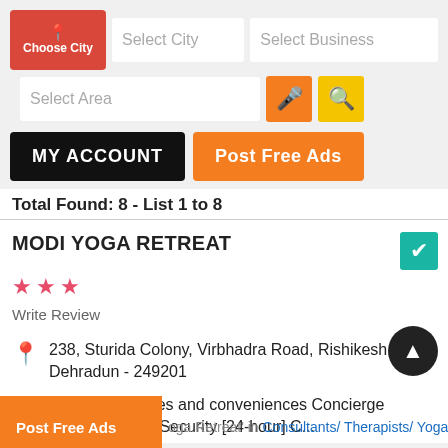[Figure (screenshot): Mobile app UI: Choose City button, Select City input, Select Business input, Select Area input with mic and search buttons, MY ACCOUNT and Post Free Ads buttons]
Total Found: 8 - List 1 to 8
MODI YOGA RETREAT
Write Review
238, Sturida Colony, Virbhadra Road, Rishikesh, Dehradun - 249201
Services: Services and conveniences Concierge Laundry service Security [24-hour] C...
oga Retreat' in Consultants/ Therapists/ Yoga, Yoga Consultants/